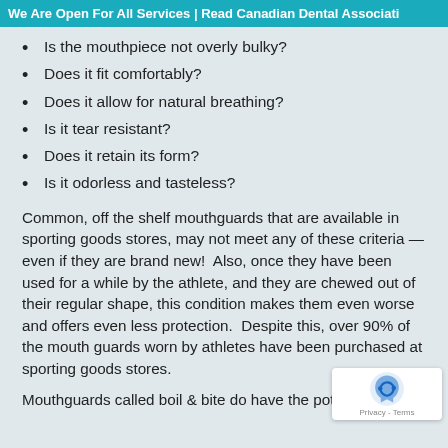We Are Open For All Services | Read Canadian Dental Associati
Is the mouthpiece not overly bulky?
Does it fit comfortably?
Does it allow for natural breathing?
Is it tear resistant?
Does it retain its form?
Is it odorless and tasteless?
Common, off the shelf mouthguards that are available in sporting goods stores, may not meet any of these criteria — even if they are brand new!  Also, once they have been used for a while by the athlete, and they are chewed out of their regular shape, this condition makes them even worse and offers even less protection.  Despite this, over 90% of the mouth guards worn by athletes have been purchased at sporting goods stores.
Mouthguards called boil & bite do have the potential